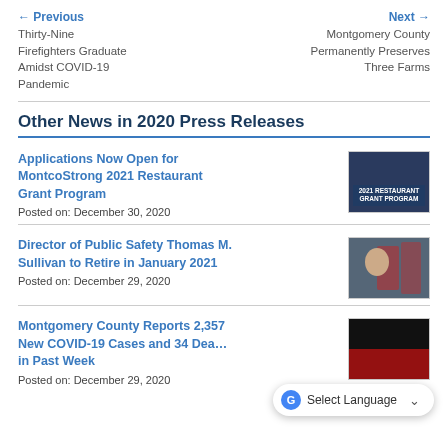← Previous
Thirty-Nine Firefighters Graduate Amidst COVID-19 Pandemic
Next →
Montgomery County Permanently Preserves Three Farms
Other News in 2020 Press Releases
Applications Now Open for MontcoStrong 2021 Restaurant Grant Program
Posted on: December 30, 2020
[Figure (photo): 2021 Restaurant Grant Program promotional image with food and text overlay]
Director of Public Safety Thomas M. Sullivan to Retire in January 2021
Posted on: December 29, 2020
[Figure (photo): Photo of a person in front of American flags]
Montgomery County Reports 2,357 New COVID-19 Cases and 34 Deaths in Past Week
Posted on: December 29, 2020
[Figure (photo): Dark image related to COVID-19 news]